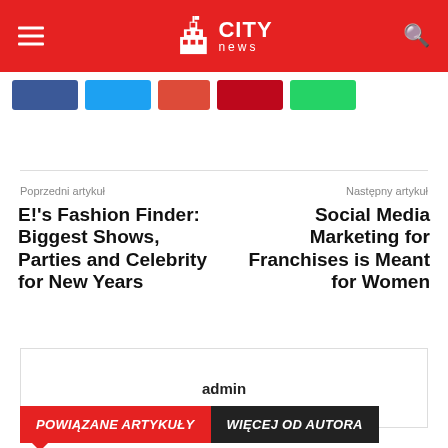CITY news
[Figure (other): Social share buttons: Facebook (blue), Twitter (cyan), Google+ (red), Pinterest (dark red), WhatsApp (green)]
Poprzedni artykuł
Następny artykuł
E!'s Fashion Finder: Biggest Shows, Parties and Celebrity for New Years
Social Media Marketing for Franchises is Meant for Women
admin
POWIĄZANE ARTYKUŁY
WIĘCEJ OD AUTORA